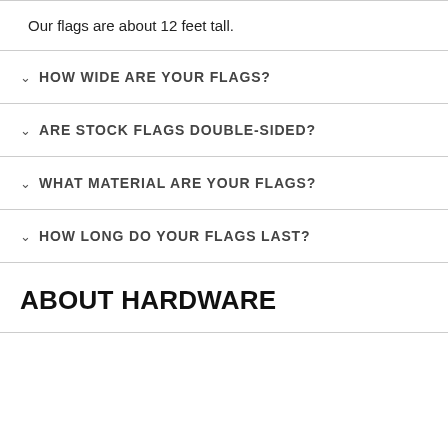Our flags are about 12 feet tall.
HOW WIDE ARE YOUR FLAGS?
ARE STOCK FLAGS DOUBLE-SIDED?
WHAT MATERIAL ARE YOUR FLAGS?
HOW LONG DO YOUR FLAGS LAST?
ABOUT HARDWARE